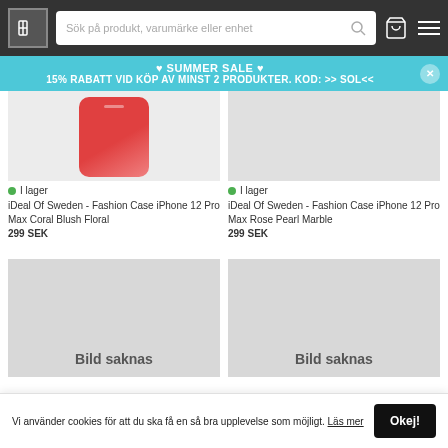[Figure (screenshot): Website header with logo, search bar, cart icon, and hamburger menu on dark background]
♥ SUMMER SALE ♥
15% RABATT VID KÖP AV MINST 2 PRODUKTER. KOD: >> SOL<<
[Figure (photo): iDeal Of Sweden Fashion Case iPhone 12 Pro Max Coral Blush Floral product image (pink/red case shown)]
I lager
iDeal Of Sweden - Fashion Case iPhone 12 Pro Max Coral Blush Floral
299 SEK
[Figure (photo): iDeal Of Sweden Fashion Case iPhone 12 Pro Max Rose Pearl Marble product image (gray placeholder)]
I lager
iDeal Of Sweden - Fashion Case iPhone 12 Pro Max Rose Pearl Marble
299 SEK
[Figure (photo): Product placeholder image with text 'Bild saknas']
[Figure (photo): Product placeholder image with text 'Bild saknas']
Vi använder cookies för att du ska få en så bra upplevelse som möjligt. Läs mer